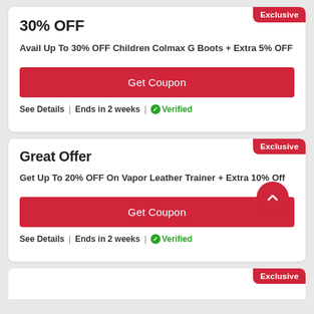30% OFF
Avail Up To 30% OFF Children Colmax G Boots + Extra 5% OFF
Get Coupon
See Details | Ends in 2 weeks | Verified
Great Offer
Get Up To 20% OFF On Vapor Leather Trainer + Extra 10% Off
Get Coupon
See Details | Ends in 2 weeks | Verified